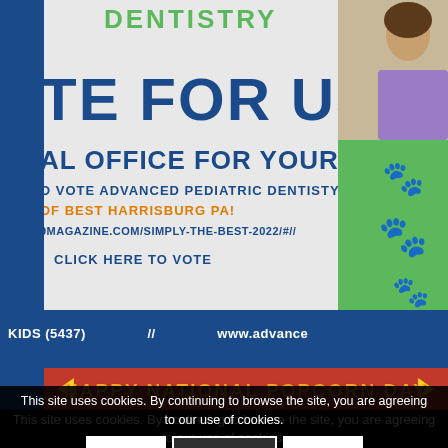[Figure (infographic): Pediatric dentistry advertisement card with light gray background and green right panel. Text reads: DENTISTRY at top in green, TE FOR US in large blue bold text, AL OFFICE FOR YOUR CHILD in blue, O VOTE ADVANCED PEDIATRIC DENTISTY in blue uppercase, OF BEST HARRISBURG PA! in orange uppercase, 9MAGAZINE.COM/SIMPLY-THE-BEST-2022/#// in blue, CLICK HERE TO VOTE in blue bold. Orange paw prints on green right panel. Person photo in top right corner.]
KIDS (5437)  //  www.advance
[Figure (infographic): Red banner with yellow/orange text reading HAPPY NATIONAL POPCORN DAY with yellow decorative leaf/arrow elements on both sides. Below is a dark brown/black background with a popcorn bucket illustration.]
This site uses cookies. By continuing to browse the site, you are agreeing to our use of cookies.
OK  Learn more  ×